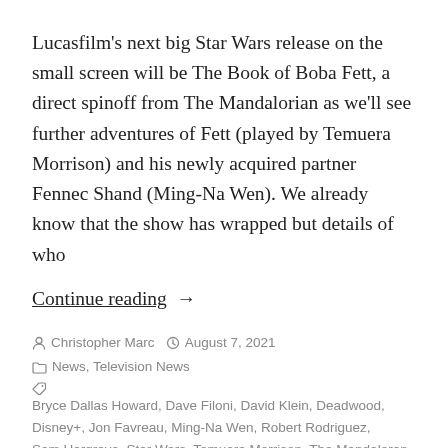Lucasfilm's next big Star Wars release on the small screen will be The Book of Boba Fett, a direct spinoff from The Mandalorian as we'll see further adventures of Fett (played by Temuera Morrison) and his newly acquired partner Fennec Shand (Ming-Na Wen). We already know that the show has wrapped but details of who
Continue reading →
Christopher Marc   August 7, 2021
News, Television News
Bryce Dallas Howard, Dave Filoni, David Klein, Deadwood, Disney+, Jon Favreau, Ming-Na Wen, Robert Rodriguez, Sam Hargrave, Star Wars, Temuera Morrison, The Mandaloran
Leave a comment